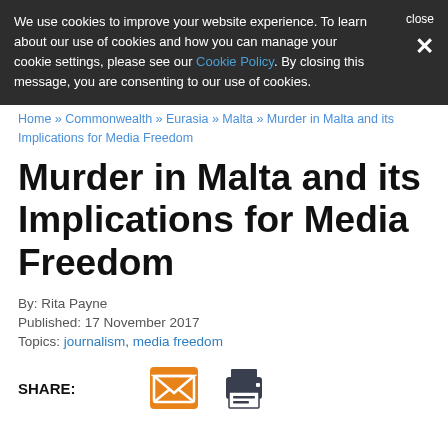We use cookies to improve your website experience. To learn about our use of cookies and how you can manage your cookie settings, please see our Cookie Policy. By closing this message, you are consenting to our use of cookies.
close ✕
Home » Commonwealth » Eurasia » Malta » Murder in Malta and its Implications for Media Freedom
Murder in Malta and its Implications for Media Freedom
By: Rita Payne
Published: 17 November 2017
Topics: journalism, media freedom
SHARE: